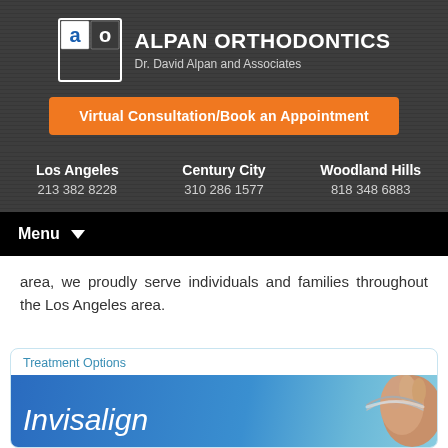[Figure (logo): Alpan Orthodontics logo with 'ao' icon in blue/white squares and text 'ALPAN ORTHODONTICS / Dr. David Alpan and Associates']
Virtual Consultation/Book an Appointment
Los Angeles
213 382 8228

Century City
310 286 1577

Woodland Hills
818 348 6883
Menu ▼
area, we proudly serve individuals and families throughout the Los Angeles area.
Treatment Options
Invisalign